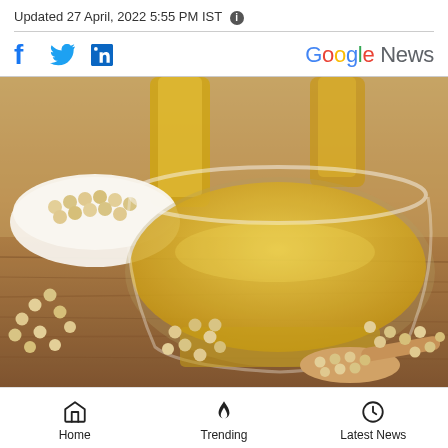Updated 27 April, 2022 5:55 PM IST
[Figure (photo): Social media sharing icons: Facebook, Twitter, LinkedIn on the left; Google News logo on the right]
[Figure (photo): Photo of soybean oil in a glass bowl and bottle, with soybeans scattered on a wooden table and a wooden spoon filled with soybeans]
Home | Trending | Latest News